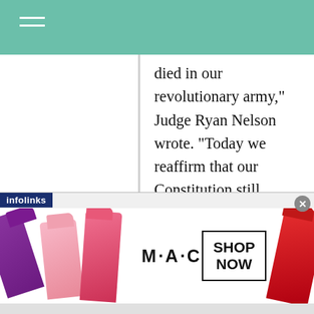died in our revolutionary army,” Judge Ryan Nelson wrote. “Today we reaffirm that our Constitution still protects the right that enabled their sacrifice: the right of young adults to keep and bear arms.”
One can’t help but think of another 18-
[Figure (photo): MAC Cosmetics advertisement showing lipsticks in purple, pink, hot pink, and red colors, with the MAC logo and a SHOP NOW button. An infolinks banner label appears at the top left and a close (x) button at the top right.]